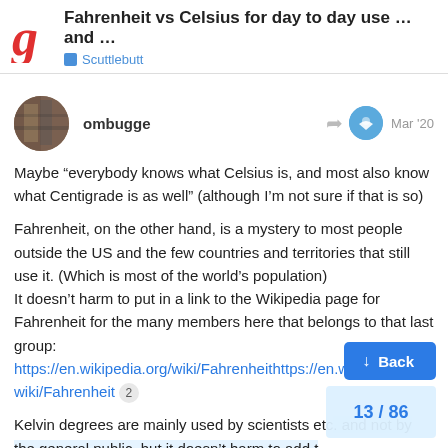Fahrenheit vs Celsius for day to day use …and …
Scuttlebutt
ombugge
Mar '20
Maybe “everybody knows what Celsius is, and most also know what Centigrade is as well” (although I’m not sure if that is so)
Fahrenheit, on the other hand, is a mystery to most people outside the US and the few countries and territories that still use it. (Which is most of the world’s population)
It doesn’t harm to put in a link to the Wikipedia page for Fahrenheit for the many members here that belongs to that last group:
https://en.wikipedia.org/wiki/Fahrenheithttps://en.wikipedia.org/wiki/Fahrenheit 2
Kelvin degrees are mainly used by scientists etc. and not by the general public, but it doesn’t harm to add t bank:
↓ Back
13 / 86